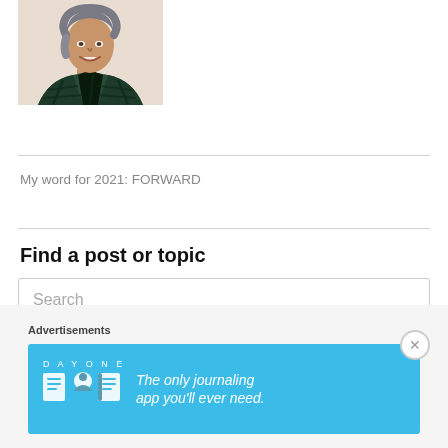[Figure (illustration): Hand-drawn portrait illustration of a woman with short gray hair wearing a dark plaid/checkered blazer, smiling]
My word for 2021: FORWARD
Find a post or topic
Search
[Figure (other): Advertisement banner for DayOne journaling app. Shows 'DAY ONE' text with icons and text 'The only journaling app you'll ever need.']